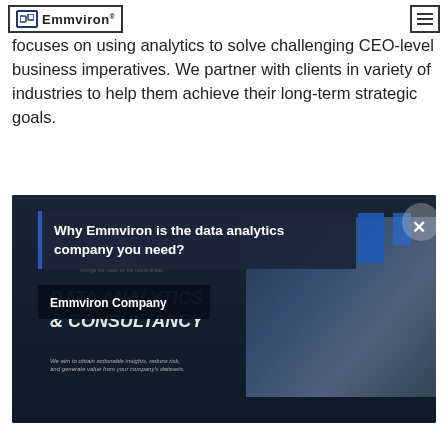Emmviron [logo] | hamburger menu
Emmviron is known for her business-first approach, which focuses on using analytics to solve challenging CEO-level business imperatives. We partner with clients in variety of industries to help them achieve their long-term strategic goals.
[Figure (screenshot): Screenshot of a video popup/modal on a dark background. The popup shows 'Why Emmviron is the data analytics company you need?' as a title with an X close button, and 'Emmviron Company' as a subtitle label. Behind the popup is a video frame showing 'DATA ANALYTICS & CONSULTANCY' text and an image of business people in a meeting room.]